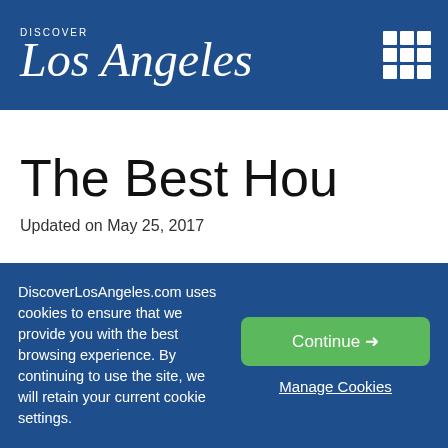Discover Los Angeles
The Best Happy Hour
Updated on May 25, 2017
[Figure (photo): Blurred close-up photo of food items on a wooden surface with dark background]
DiscoverLosAngeles.com uses cookies to ensure that we provide you with the best browsing experience. By continuing to use the site, we will retain your current cookie settings.